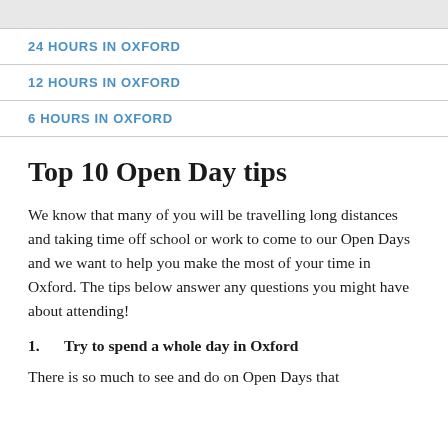24 HOURS IN OXFORD
12 HOURS IN OXFORD
6 HOURS IN OXFORD
Top 10 Open Day tips
We know that many of you will be travelling long distances and taking time off school or work to come to our Open Days and we want to help you make the most of your time in Oxford. The tips below answer any questions you might have about attending!
1. Try to spend a whole day in Oxford
There is so much to see and do on Open Days that